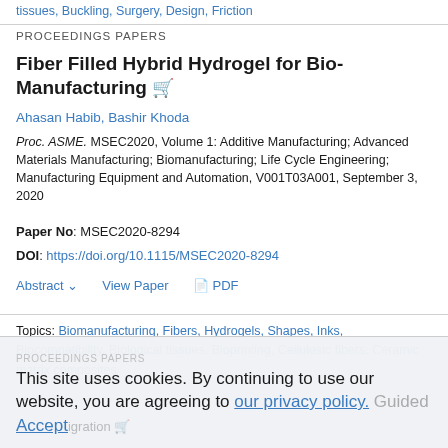tissues, Buckling, Surgery, Design, Friction
PROCEEDINGS PAPERS
Fiber Filled Hybrid Hydrogel for Bio-Manufacturing
Ahasan Habib, Bashir Khoda
Proc. ASME. MSEC2020, Volume 1: Additive Manufacturing; Advanced Materials Manufacturing; Biomanufacturing; Life Cycle Engineering; Manufacturing Equipment and Automation, V001T03A001, September 3, 2020
Paper No: MSEC2020-8294
DOI: https://doi.org/10.1115/MSEC2020-8294
Abstract  View Paper  PDF
Topics: Biomanufacturing, Fibers, Hydrogels, Shapes, Inks, Biocompatibility, Biological tissues, Bioprinting, Cellulosic fibers, Ceramic matrix composites
This site uses cookies. By continuing to use our website, you are agreeing to our privacy policy. Accept